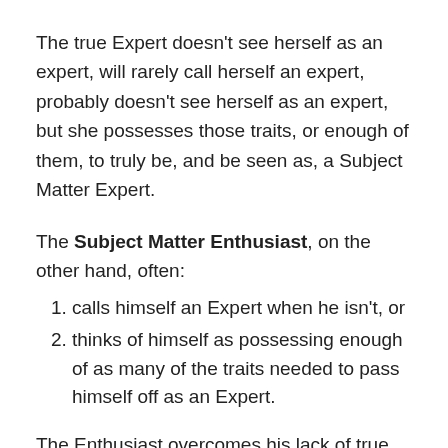The true Expert doesn't see herself as an expert, will rarely call herself an expert, probably doesn't see herself as an expert, but she possesses those traits, or enough of them, to truly be, and be seen as, a Subject Matter Expert.
The Subject Matter Enthusiast, on the other hand, often:
calls himself an Expert when he isn't, or
thinks of himself as possessing enough of as many of the traits needed to pass himself off as an Expert.
The Enthusiast overcomes his lack of true expertise with just enough confidence, hubris, and (frankly)